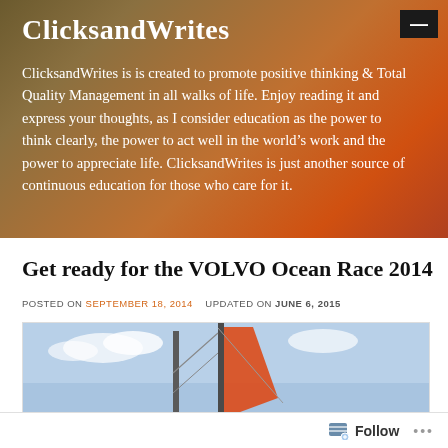ClicksandWrites
ClicksandWrites is is created to promote positive thinking & Total Quality Management in all walks of life. Enjoy reading it and express your thoughts, as I consider education as the power to think clearly, the power to act well in the world's work and the power to appreciate life. ClicksandWrites is just another source of continuous education for those who care for it.
Get ready for the VOLVO Ocean Race 2014
POSTED ON SEPTEMBER 18, 2014   UPDATED ON JUNE 6, 2015
[Figure (photo): Sailing boat mast and colorful sail against sky, partial view from below]
Follow  •••